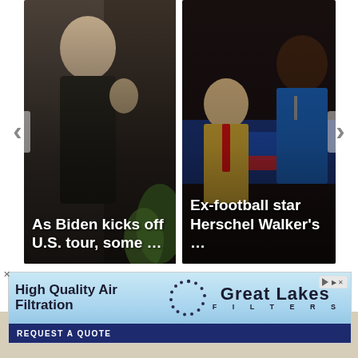[Figure (screenshot): News carousel with two story thumbnails. Left card shows Biden photo with headline 'As Biden kicks off U.S. tour, some …'. Right card shows Trump/Herschel Walker photo with headline 'Ex-football star Herschel Walker's …'. Navigation arrows on left and right.]
[Figure (screenshot): Advertisement banner for Great Lakes Filters. Text: 'High Quality Air Filtration' on left, dotted circle logo in center, 'Great Lakes FILTERS' on right. Bottom dark blue bar: 'REQUEST A QUOTE'. Play icon top right. Close X top left.]